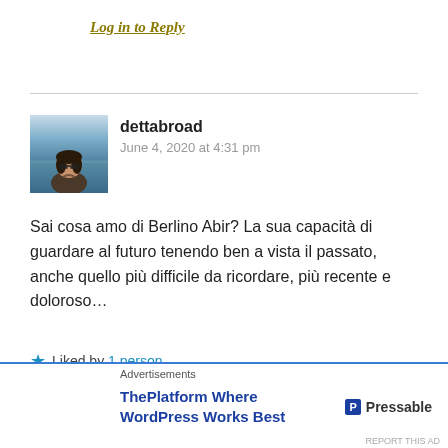Log in to Reply
dettabroad
June 4, 2020 at 4:31 pm
Sai cosa amo di Berlino Abir? La sua capacità di guardare al futuro tenendo ben a vista il passato, anche quello più difficile da ricordare, più recente e doloroso…
Liked by 1 person
Log in to Reply
Advertisements
ThePlatform Where WordPress Works Best  P Pressable